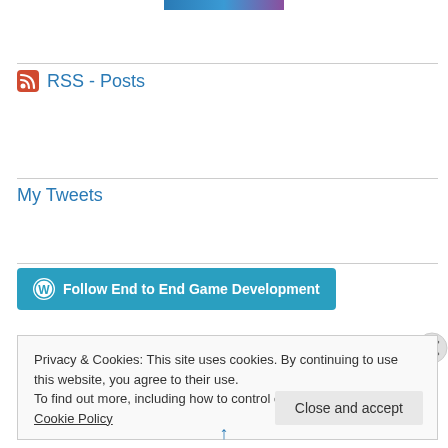[Figure (photo): Partial image strip visible at very top of page]
RSS - Posts
My Tweets
[Figure (other): Follow End to End Game Development button with WordPress icon]
Privacy & Cookies: This site uses cookies. By continuing to use this website, you agree to their use.
To find out more, including how to control cookies, see here: Cookie Policy
Close and accept